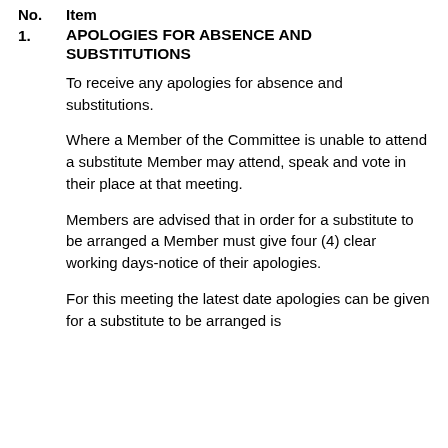No.  Item
1.  APOLOGIES FOR ABSENCE AND SUBSTITUTIONS
To receive any apologies for absence and substitutions.
Where a Member of the Committee is unable to attend a substitute Member may attend, speak and vote in their place at that meeting.
Members are advised that in order for a substitute to be arranged a Member must give four (4) clear working days-notice of their apologies.
For this meeting the latest date apologies can be given for a substitute to be arranged is